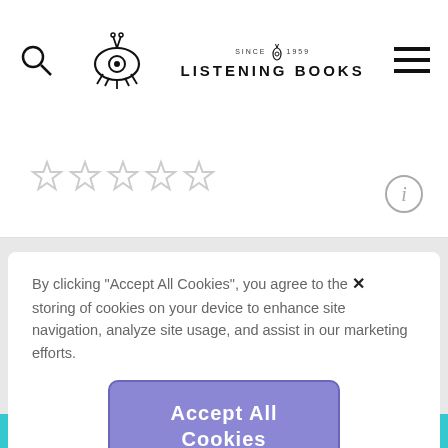LISTENING BOOKS
[Figure (screenshot): Five light-gray empty star ratings on a white background card area]
[Figure (other): Circular info icon (i) in the upper right of the card area]
By clicking “Accept All Cookies“, you agree to the storing of cookies on your device to enhance site navigation, analyze site usage, and assist in our marketing efforts.
[Figure (other): Accept All Cookies button — purple/lavender rounded rectangle]
Cookies Settings